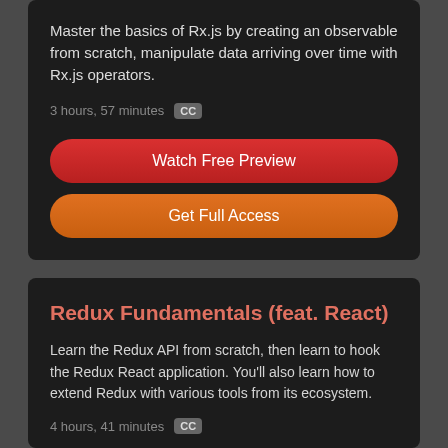Master the basics of Rx.js by creating an observable from scratch, manipulate data arriving over time with Rx.js operators.
3 hours, 57 minutes CC
Watch Free Preview
Get Full Access
Redux Fundamentals (feat. React)
Learn the Redux API from scratch, then learn to hook the Redux React application. You'll also learn how to extend Redux with various tools from its ecosystem.
4 hours, 41 minutes CC